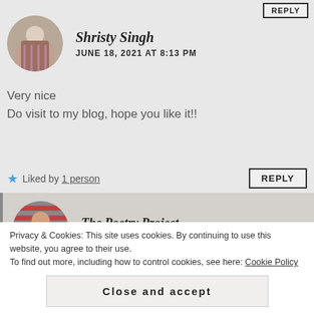[Figure (other): Reply button at top right]
[Figure (photo): Circular avatar of Shristy Singh]
Shristy Singh
JUNE 18, 2021 AT 8:13 PM
Very nice
Do visit to my blog, hope you like it!!
Liked by 1 person
[Figure (other): Reply button]
[Figure (photo): Circular avatar of The Poetry Project]
The Poetry Project
JUNE 18, 2021 AT 9:07 PM
Privacy & Cookies: This site uses cookies. By continuing to use this website, you agree to their use.
To find out more, including how to control cookies, see here: Cookie Policy
Close and accept